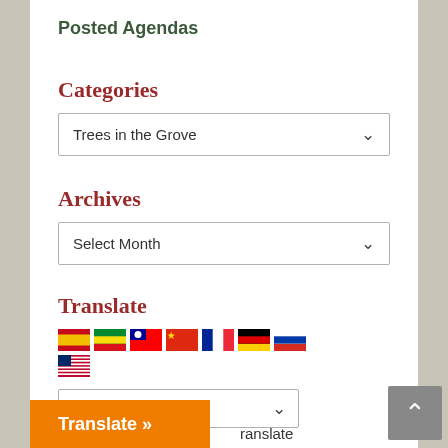Posted Agendas
Categories
Trees in the Grove
Archives
Select Month
Translate
[Figure (infographic): Row of country flag icons: Spanish, Ethiopian, Taiwanese, Chinese, French, German, Russian, US flags]
Translate »
ranslate